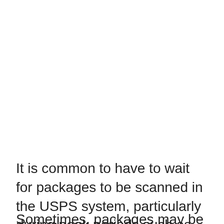It is common to have to wait for packages to be scanned in the USPS system, particularly during peak periods such as Christmas.
Sometimes, packages may be sent to the